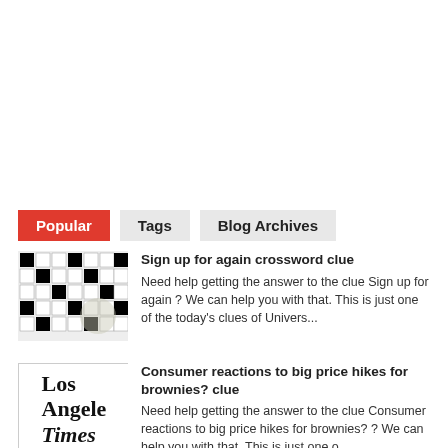Popular | Tags | Blog Archives
Sign up for again crossword clue — Need help getting the answer to the clue Sign up for again ? We can help you with that. This is just one of the today's clues of Univers...
Consumer reactions to big price hikes for brownies? clue — Need help getting the answer to the clue Consumer reactions to big price hikes for brownies? ? We can help you with that. This is just one o...